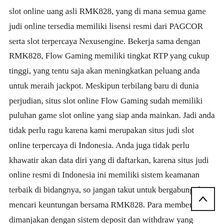slot online uang asli RMK828, yang di mana semua game judi online tersedia memiliki lisensi resmi dari PAGCOR serta slot terpercaya Nexusengine. Bekerja sama dengan RMK828, Flow Gaming memiliki tingkat RTP yang cukup tinggi, yang tentu saja akan meningkatkan peluang anda untuk meraih jackpot. Meskipun terbilang baru di dunia perjudian, situs slot online Flow Gaming sudah memiliki puluhan game slot online yang siap anda mainkan. Jadi anda tidak perlu ragu karena kami merupakan situs judi slot online terpercaya di Indonesia. Anda juga tidak perlu khawatir akan data diri yang di daftarkan, karena situs judi online resmi di Indonesia ini memiliki sistem keamanan terbaik di bidangnya, so jangan takut untuk bergabung dan mencari keuntungan bersama RMK828. Para member akan dimanjakan dengan sistem deposit dan withdraw yang sangat cepat serta jaminan keamanan data pribadi. Terlebih lagi banyak jenis provider game slot tersedia yang pastinya akan membuat anda bingung untuk memilihnya, nah oleh karena itu informasi ini diberikan untuk membantu anda ber judi slot terpercaya dengan rasa nyaman.